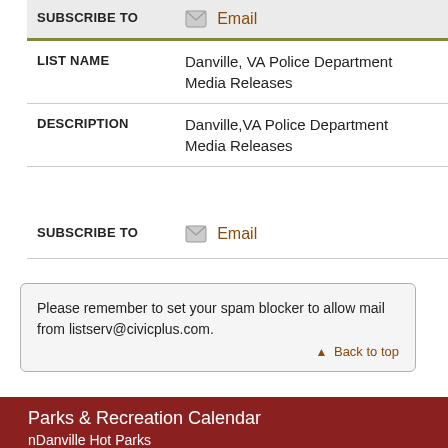| Field | Value |
| --- | --- |
| SUBSCRIBE TO | Email |
| LIST NAME | Danville, VA Police Department Media Releases |
| DESCRIPTION | Danville,VA Police Department Media Releases |
| SUBSCRIBE TO | Email |
Please remember to set your spam blocker to allow mail from listserv@civicplus.com.
Back to top
Parks & Recreation Calendar
nDanville Hot Parks